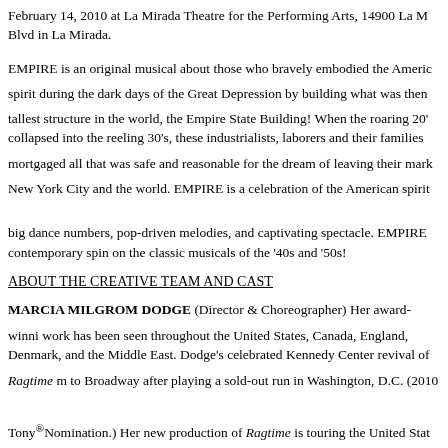February 14, 2010 at La Mirada Theatre for the Performing Arts, 14900 La Mirada Blvd in La Mirada.
EMPIRE is an original musical about those who bravely embodied the American spirit during the dark days of the Great Depression by building what was then the tallest structure in the world, the Empire State Building! When the roaring 20's collapsed into the reeling 30's, these industrialists, laborers and their families mortgaged all that was safe and reasonable for the dream of leaving their mark on New York City and the world. EMPIRE is a celebration of the American spirit with big dance numbers, pop-driven melodies, and captivating spectacle. EMPIRE puts a contemporary spin on the classic musicals of the '40s and '50s!
ABOUT THE CREATIVE TEAM AND CAST
MARCIA MILGROM DODGE (Director & Choreographer) Her award-winning work has been seen throughout the United States, Canada, England, Denmark, and the Middle East. Dodge's celebrated Kennedy Center revival of Ragtime moved to Broadway after playing a sold-out run in Washington, D.C. (2010 Tony® Nomination.) Her new production of Ragtime is touring the United States via Phoenix Entertainment. Dodge has worked in such acclaimed theatres as the New York City Opera, The Public, Center Stage, The Muny, Arena Stage, Goodman Theatre, Denver Center Theatre Company, Glimmerglass Festival, La Jolla Playhouse, Pittsburgh Public, St. Louis Rep, Cincinnati Playhouse in the Park, Huntington Theatre, Bay Street, Maltz Jupiter, Goodspeed, Reprise, Music Circus, The Alliance, Rock Playhouse and abroad at the Nanta Theatre (Seoul, S. Korea); Frederick...